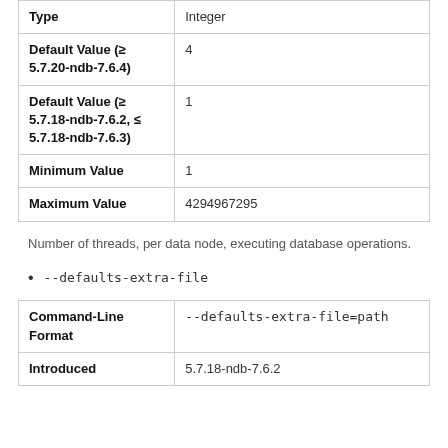| Type | Integer |
| Default Value (≥ 5.7.20-ndb-7.6.4) | 4 |
| Default Value (≥ 5.7.18-ndb-7.6.2, ≤ 5.7.18-ndb-7.6.3) | 1 |
| Minimum Value | 1 |
| Maximum Value | 4294967295 |
Number of threads, per data node, executing database operations.
--defaults-extra-file
| Command-Line Format | --defaults-extra-file=path |
| Introduced | 5.7.18-ndb-7.6.2 |